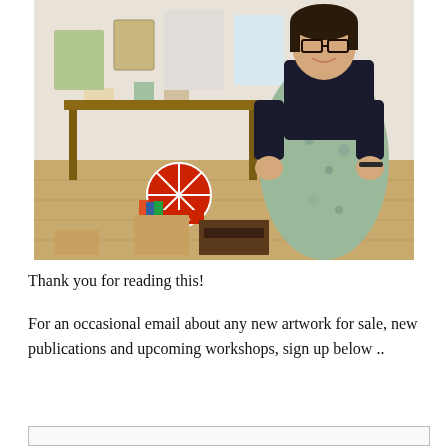[Figure (photo): A woman wearing glasses and a paint-stained apron stands in an art studio. Behind her is a wooden desk covered in art supplies, shelves, and papers pinned to the wall. On the floor are boxes of art materials and a decorative red and white circular object.]
Thank you for reading this!
For an occasional email about any new artwork for sale, new publications and upcoming workshops, sign up below ..